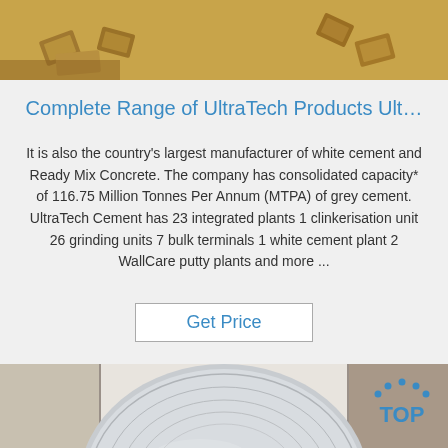[Figure (photo): Top image showing cement bags on a golden/tan background with scattered small paper pieces]
Complete Range of UltraTech Products Ult…
It is also the country's largest manufacturer of white cement and Ready Mix Concrete. The company has consolidated capacity* of 116.75 Million Tonnes Per Annum (MTPA) of grey cement. UltraTech Cement has 23 integrated plants 1 clinkerisation unit 26 grinding units 7 bulk terminals 1 white cement plant 2 WallCare putty plants and more ...
Get Price
[Figure (photo): Bottom image showing a large circular metallic disc (cement grinding disc) with industrial background]